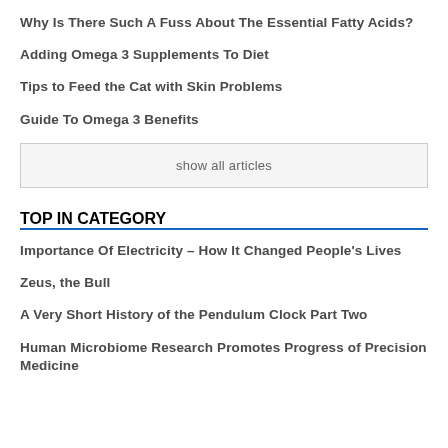Why Is There Such A Fuss About The Essential Fatty Acids?
Adding Omega 3 Supplements To Diet
Tips to Feed the Cat with Skin Problems
Guide To Omega 3 Benefits
show all articles
TOP IN CATEGORY
Importance Of Electricity – How It Changed People's Lives
Zeus, the Bull
A Very Short History of the Pendulum Clock Part Two
Human Microbiome Research Promotes Progress of Precision Medicine